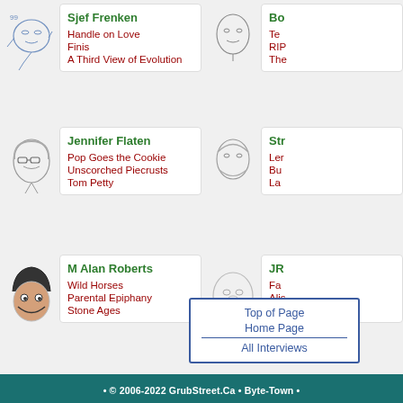[Figure (illustration): Hand-drawn sketch portrait of Sjef Frenken]
Sjef Frenken
Handle on Love
Finis
A Third View of Evolution
[Figure (illustration): Sketch portrait of second author (partially visible), Bo...]
Bo...
Te...
RIP...
The...
[Figure (illustration): Sketch portrait of Jennifer Flaten]
Jennifer Flaten
Pop Goes the Cookie
Unscorched Piecrusts
Tom Petty
[Figure (illustration): Sketch portrait of Str... author (partially visible)]
Str...
Ler...
Bu...
La...
[Figure (illustration): Sketch portrait of M Alan Roberts]
M Alan Roberts
Wild Horses
Parental Epiphany
Stone Ages
[Figure (illustration): Sketch portrait of JR... (partially visible)]
JR...
Fa...
Alis...
Ros...
Top of Page
Home Page
All Interviews
• © 2006-2022 GrubStreet.Ca • Byte-Town •